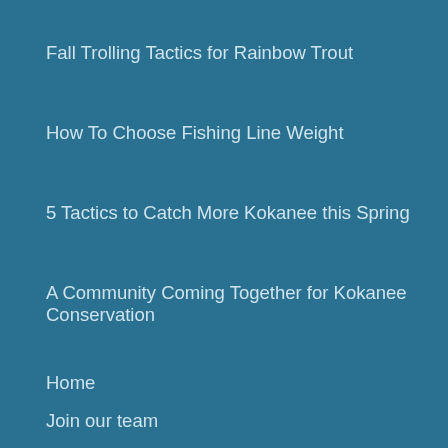Fall Trolling Tactics for Rainbow Trout
How To Choose Fishing Line Weight
5 Tactics to Catch More Kokanee this Spring
A Community Coming Together for Kokanee Conservation
Home
Join our team
Terms of Use
Privacy Policy
Contact Us